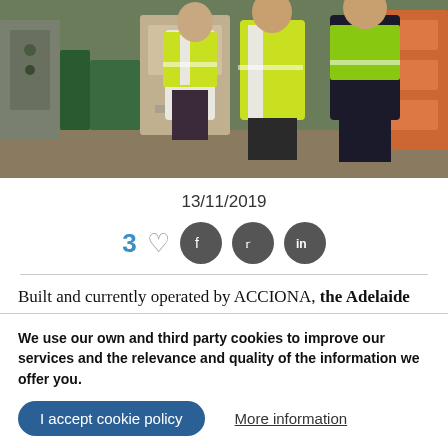[Figure (photo): Two men in high-visibility yellow vests inspecting equipment inside an industrial facility (desalination plant). Industrial machinery and orange equipment visible in background.]
13/11/2019
3 [likes] [heart] [facebook] [twitter] [linkedin]
Built and currently operated by ACCIONA, the Adelaide Desalination Plant will increase production to supply
We use our own and third party cookies to improve our services and the relevance and quality of the information we offer you.
I accept cookie policy
More information